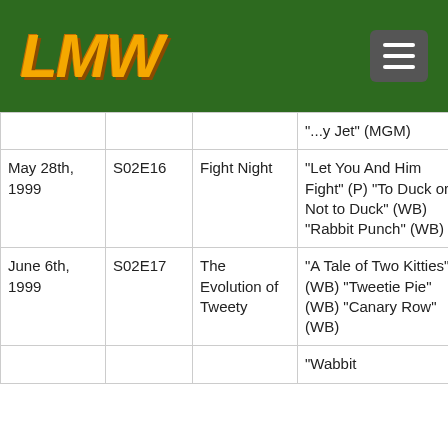[Figure (logo): LMW logo in gold/orange italic bold text on green header bar]
| Date | Episode | Title | Cartoons Featured |  |
| --- | --- | --- | --- | --- |
|  |  |  | “...y Jet” (MGM) |  |
| May 28th, 1999 | S02E16 | Fight Night | “Let You And Him Fight” (P) “To Duck or Not to Duck” (WB) “Rabbit Punch” (WB) | Fou |
| June 6th, 1999 | S02E17 | The Evolution of Tweety | “A Tale of Two Kitties” (WB) “Tweetie Pie” (WB) “Canary Row” (WB) | Fou |
|  |  |  | “Wabbit |  |